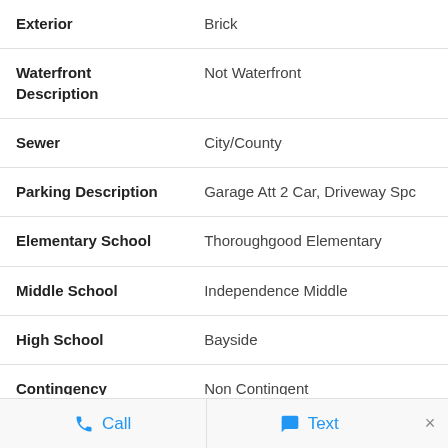| Field | Value |
| --- | --- |
| Exterior | Brick |
| Waterfront Description | Not Waterfront |
| Sewer | City/County |
| Parking Description | Garage Att 2 Car, Driveway Spc |
| Elementary School | Thoroughgood Elementary |
| Middle School | Independence Middle |
| High School | Bayside |
| Contingency | Non Contingent |
Call   Text   ×